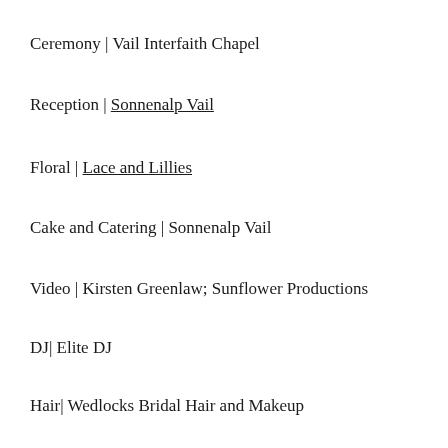Ceremony | Vail Interfaith Chapel
Reception | Sonnenalp Vail
Floral | Lace and Lillies
Cake and Catering | Sonnenalp Vail
Video | Kirsten Greenlaw; Sunflower Productions
DJ| Elite DJ
Hair| Wedlocks Bridal Hair and Makeup
Gown | The Gown Gallery